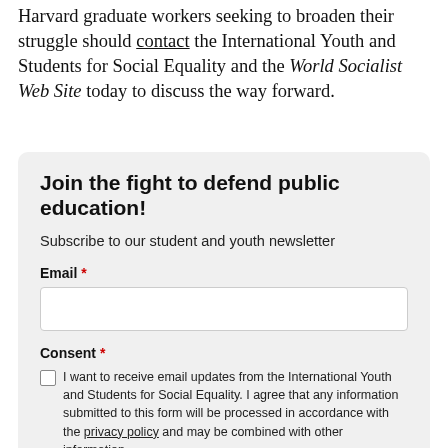Harvard graduate workers seeking to broaden their struggle should contact the International Youth and Students for Social Equality and the World Socialist Web Site today to discuss the way forward.
Join the fight to defend public education!
Subscribe to our student and youth newsletter
Email *
Consent *
I want to receive email updates from the International Youth and Students for Social Equality. I agree that any information submitted to this form will be processed in accordance with the privacy policy and may be combined with other information.
Submit